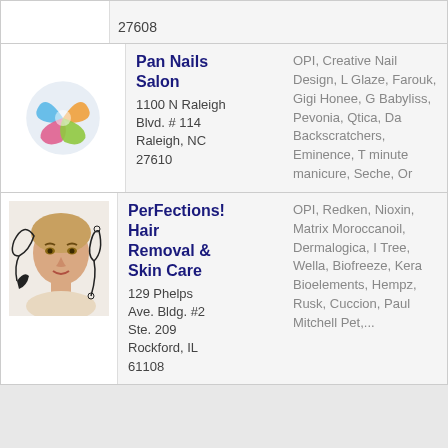27608
[Figure (logo): Pan Nails Salon circular logo with pink, blue, orange, and green swirl shapes]
Pan Nails Salon
1100 N Raleigh Blvd. # 114
Raleigh, NC 27610
OPI, Creative Nail Design, L Glaze, Farouk, Gigi Honee, G Babyliss, Pevonia, Qtica, Da Backscratchers, Eminence, T minute manicure, Seche, Or
[Figure (photo): Woman's face with decorative black floral swirl design, skin care salon imagery]
PerFections! Hair Removal & Skin Care
129 Phelps Ave. Bldg. #2 Ste. 209
Rockford, IL 61108
OPI, Redken, Nioxin, Matrix Moroccanoil, Dermalogica, I Tree, Wella, Biofreeze, Kera Bioelements, Hempz, Rusk, Cuccion, Paul Mitchell Pet,...